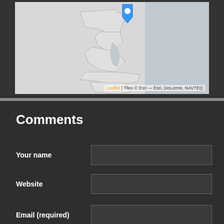[Figure (map): A Leaflet map showing the US East Coast region with a blue location pin marker. Map tiles credited to Esri, DeLorme, NAVTEQ.]
Leaflet | Tiles © Esri — Esri, DeLorme, NAVTEQ
Comments
Your name
Website
Email (required)